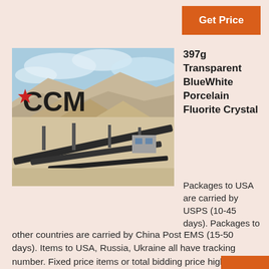Get Price
[Figure (photo): Aerial view of a mining/quarry site with conveyor belts, gravel piles, and industrial equipment. CCM logo with red star overlaid on the image.]
397g Transparent BlueWhite Porcelain Fluorite Crystal
Packages to USA are carried by USPS (10-45 days). Packages to other countries are carried by China Post EMS (15-50 days). Items to USA, Russia, Ukraine all have tracking number. Fixed price items or total bidding price higher than $15 items have tracking number. Total bidding price lower than $15 items will be shipped with no tracking number.